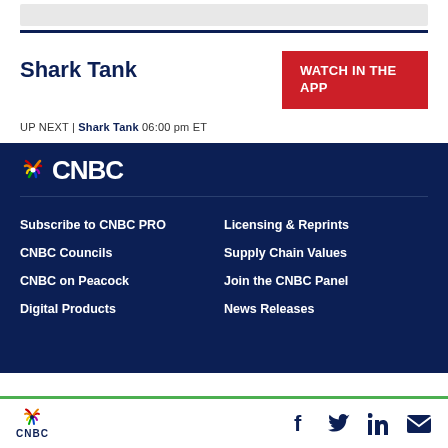Shark Tank
WATCH IN THE APP
UP NEXT | Shark Tank 06:00 pm ET
[Figure (logo): CNBC logo with NBC peacock icon in footer]
Subscribe to CNBC PRO
Licensing & Reprints
CNBC Councils
Supply Chain Values
CNBC on Peacock
Join the CNBC Panel
Digital Products
News Releases
CNBC logo and social icons: Facebook, Twitter, LinkedIn, Email